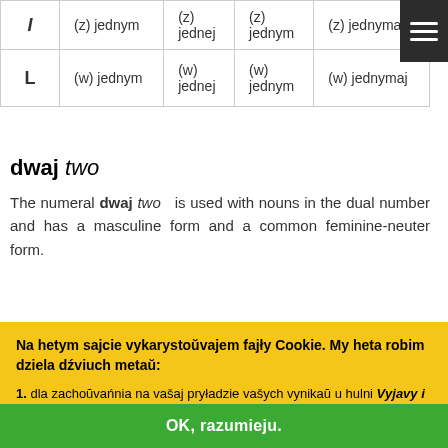|  |  |  |  |  |
| --- | --- | --- | --- | --- |
| I | (z) jednym | (z) jednej | (z) jednym | (z) jednymaj |
| L | (w) jednym | (w) jednej | (w) jednym | (w) jednymaj |
dwaj two
The numeral dwaj two is used with nouns in the dual number and has a masculine form and a common feminine-neuter form.
|  | masc. | fem. | neut. |
| --- | --- | --- | --- |
Na hetym sajcie vykarystoŭvajem fajły Cookie. My heta robim dziela dźviuch metaŭ:
1. dla zachoŭvańnia na vašaj pryładzie vašych vynikaŭ u hulni Vyjavy i słovy i dla pakazu statystyki tych vynikaŭ na staroncy Vašyja vyniki ; žviestki pra tyja vyniki niedastupnyja inšym karystalnikam, my ich nie
OK, razumieju.